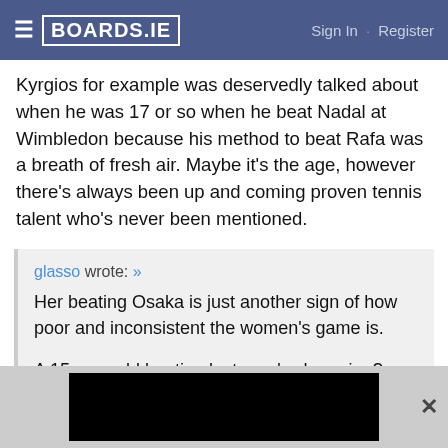BOARDS.IE  Sign In · Register
Kyrgios for example was deservedly talked about when he was 17 or so when he beat Nadal at Wimbledon because his method to beat Rafa was a breath of fresh air. Maybe it's the age, however there's always been up and coming proven tennis talent who's never been mentioned.
glasso wrote: » Her beating Osaka is just another sign of how poor and inconsistent the women's game is.

A 15 year-old beating last year's champion?

Then is beaten anyway in the next round.
[Figure (other): Advertisement banner at bottom of page, black background]